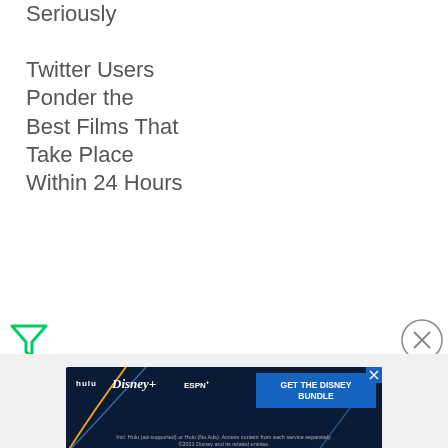Seriously

Twitter Users Ponder the Best Films That Take Place Within 24 Hours
[Figure (screenshot): Green filter/funnel icon on the left and a circular close (X) button on the right, part of a web UI overlay]
[Figure (screenshot): Advertisement banner for The Disney Bundle showing Hulu, Disney+, and ESPN+ logos with a 'GET THE DISNEY BUNDLE' call to action button. Text below reads: Incl. Hulu (ad-supported) or Hulu (No Ads). Access content from each service separately. ©2021 Disney and its related entities.]